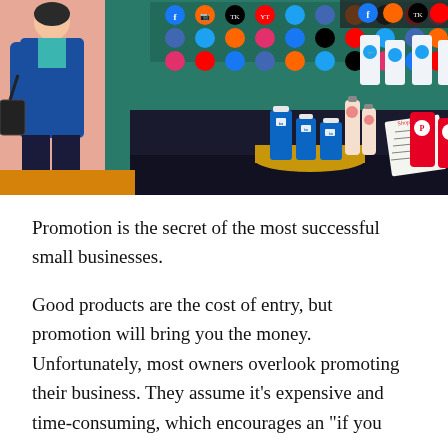[Figure (illustration): Illustrated scene of a market/trade show booth displaying social media branded products (LinkedIn blue bottles, Twitter bottles, Pinterest red bottles) on a dark table, with a person in a blue coat browsing, a grid of social media icons in the background, and a paper checklist on the table.]
Promotion is the secret of the most successful small businesses.
Good products are the cost of entry, but promotion will bring you the money. Unfortunately, most owners overlook promoting their business. They assume it’s expensive and time-consuming, which encourages an “if you